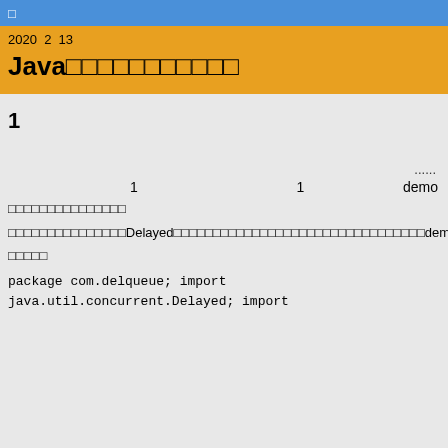□
2020  2  13
Java□□□□□□□□□□□
1
......
1   1   demo
□□□□□□□□□□□□□□□
□□□□□□□□□□□□□□□Delayed□□□□□□□□□□□□□□□□□□□□□□□□□□□□□□□□demo□
□□□□□
package com.delqueue; import java.util.concurrent.Delayed; import